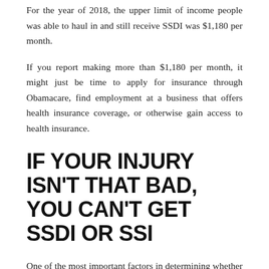For the year of 2018, the upper limit of income people was able to haul in and still receive SSDI was $1,180 per month.
If you report making more than $1,180 per month, it might just be time to apply for insurance through Obamacare, find employment at a business that offers health insurance coverage, or otherwise gain access to health insurance.
IF YOUR INJURY ISN'T THAT BAD, YOU CAN'T GET SSDI OR SSI
One of the most important factors in determining whether people are eligible for these two programs is